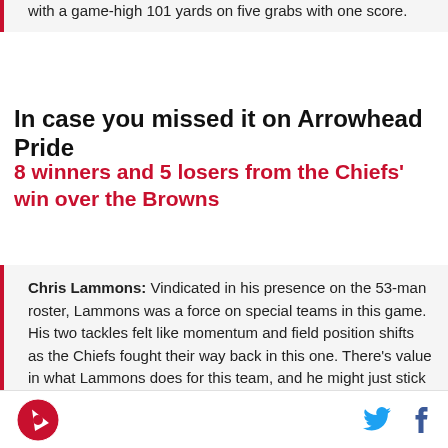with a game-high 101 yards on five grabs with one score.
In case you missed it on Arrowhead Pride
8 winners and 5 losers from the Chiefs' win over the Browns
Chris Lammons: Vindicated in his presence on the 53-man roster, Lammons was a force on special teams in this game. His two tackles felt like momentum and field position shifts as the Chiefs fought their way back in this one. There’s value in what Lammons does for this team, and he might just stick around. Uncle Dave might just know what he’s doing.